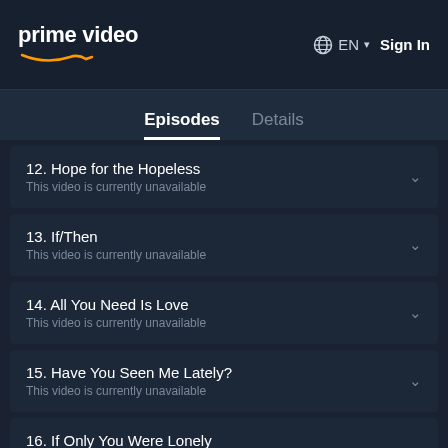prime video | EN | Sign In
Episodes | Details
12. Hope for the Hopeless
This video is currently unavailable
13. If/Then
This video is currently unavailable
14. All You Need Is Love
This video is currently unavailable
15. Have You Seen Me Lately?
This video is currently unavailable
16. If Only You Were Lonely
This video is currently unavailable